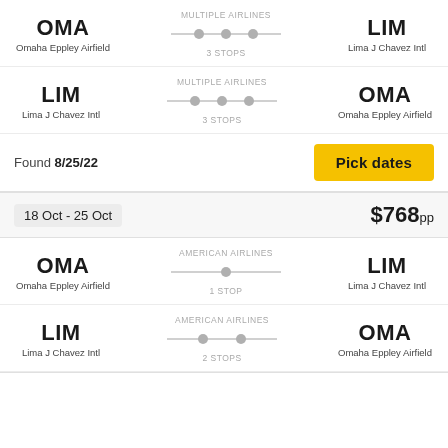[Figure (infographic): Flight route OMA to LIM, Multiple Airlines, 3 Stops]
[Figure (infographic): Flight route LIM to OMA, Multiple Airlines, 3 Stops]
Found 8/25/22
Pick dates
18 Oct - 25 Oct
$768pp
[Figure (infographic): Flight route OMA to LIM, American Airlines, 1 Stop]
[Figure (infographic): Flight route LIM to OMA, American Airlines, 2 Stops]